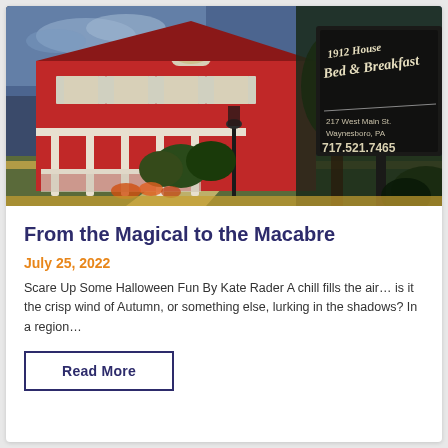[Figure (photo): Exterior photo of a red Victorian-style bed and breakfast building with white trim, columns, and a porch. In the foreground-right is a sign reading '1912 House Bed & Breakfast, 217 West Main St., Waynesboro, PA, 717.521.7465'. Landscaping includes trimmed bushes and flowering plants.]
From the Magical to the Macabre
July 25, 2022
Scare Up Some Halloween Fun By Kate Rader A chill fills the air… is it the crisp wind of Autumn, or something else, lurking in the shadows? In a region…
Read More